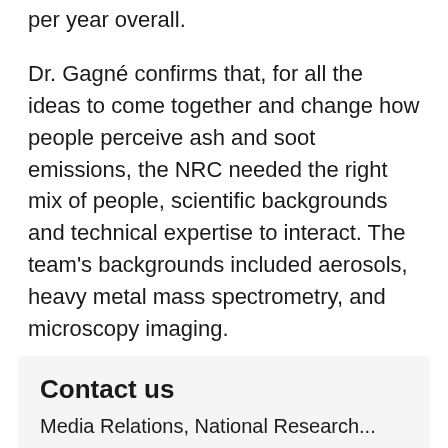per year overall.
Dr. Gagné confirms that, for all the ideas to come together and change how people perceive ash and soot emissions, the NRC needed the right mix of people, scientific backgrounds and technical expertise to interact. The team's backgrounds included aerosols, heavy metal mass spectrometry, and microscopy imaging.
"We ended up with a unique group that found something truly unexpected."
Contact us
Media Relations, National Research...